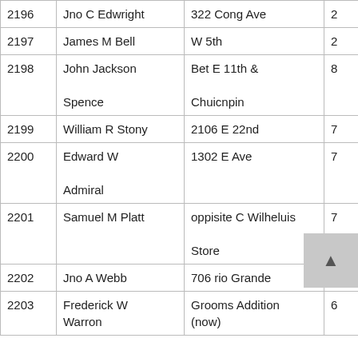| # | Name | Address | Ward | ? |
| --- | --- | --- | --- | --- |
| 2196 | Jno C Edwright | 322 Cong Ave | 2 | W |
| 2197 | James M Bell | W 5th | 2 | W |
| 2198 | John Jackson Spence | Bet E 11th & Chuicnpin | 8 | C |
| 2199 | William R Stony | 2106 E 22nd | 7 | W |
| 2200 | Edward W Admiral | 1302 E Ave | 7 | C |
| 2201 | Samuel M Platt | oppisite C Wilheluis Store | 7 | W |
| 2202 | Jno A Webb | 706 rio Grande | 2 | W |
| 2203 | Frederick W Warron | Grooms Addition (now) | 6 | W |